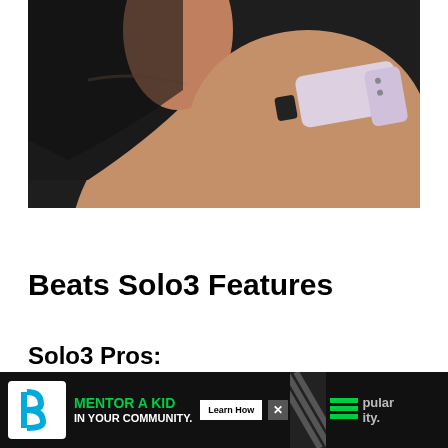[Figure (photo): Close-up photo of a person wearing a black tank top with a light pink/lavender fitness tracker or wearable device strapped to their upper arm/shoulder area.]
Beats Solo3 Features
Solo3 Pros:
[Figure (other): Advertisement banner at bottom of page. Big Brothers Big Sisters logo on left, green text 'MENTOR A KID IN YOUR COMMUNITY.' with 'Learn How' button, diagonal stripe pattern, hamburger menu icon, close X button, and partial text 'popular' and 'ity.' on right side.]